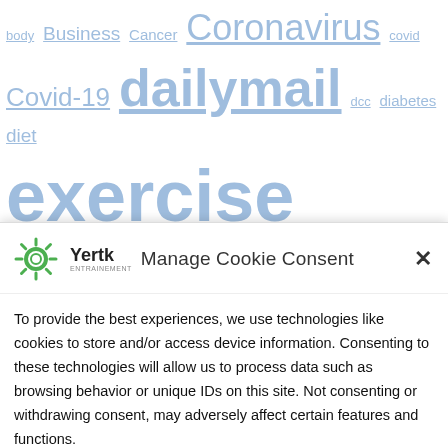[Figure (other): Tag cloud with health/medical topics in various sizes and blue hyperlink style text including: body, Business, Cancer, Coronavirus, covid, Covid-19, dailymail, dcc, diabetes, diet, exercise, fitness, fmail, food, foods, general news, government and politics, health, health and fitness, healthcare, health care, health insurance, healthy, Infectious diseases]
[Figure (screenshot): Cookie consent modal dialog from Yertk with logo, title 'Manage Cookie Consent', close X button, body text about cookies and device information, and green Accept button]
To provide the best experiences, we use technologies like cookies to store and/or access device information. Consenting to these technologies will allow us to process data such as browsing behavior or unique IDs on this site. Not consenting or withdrawing consent, may adversely affect certain features and functions.
Accept